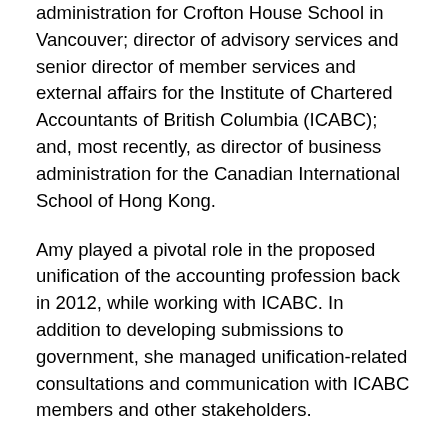administration for Crofton House School in Vancouver; director of advisory services and senior director of member services and external affairs for the Institute of Chartered Accountants of British Columbia (ICABC); and, most recently, as director of business administration for the Canadian International School of Hong Kong.
Amy played a pivotal role in the proposed unification of the accounting profession back in 2012, while working with ICABC. In addition to developing submissions to government, she managed unification-related consultations and communication with ICABC members and other stakeholders.
Her contributions to the accounting profession include playing a lead role in drafting national accounting standards for private enterprises; developing initiatives for ICABC members in industry; establishing a national conference on sustainability; and developing a technical review process for national accounting publications and